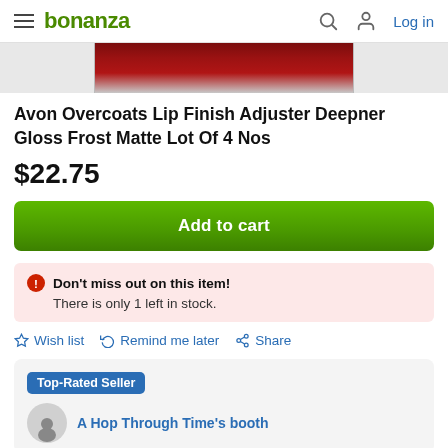bonanza | Log in
[Figure (photo): Partial product image showing Avon lip products in dark red/maroon color at the top of the page]
Avon Overcoats Lip Finish Adjuster Deepner Gloss Frost Matte Lot Of 4 Nos
$22.75
Add to cart
Don't miss out on this item! There is only 1 left in stock.
Wish list  Remind me later  Share
Top-Rated Seller
A Hop Through Time's booth